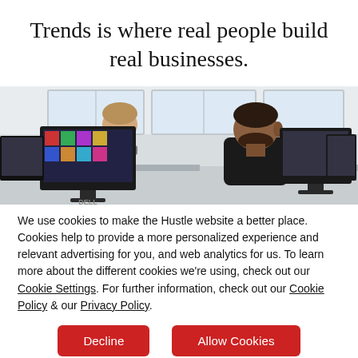Trends is where real people build real businesses.
[Figure (photo): Office scene with two people working at Dell computer monitors in a bright open office environment.]
We use cookies to make the Hustle website a better place. Cookies help to provide a more personalized experience and relevant advertising for you, and web analytics for us. To learn more about the different cookies we're using, check out our Cookie Settings. For further information, check out our Cookie Policy & our Privacy Policy.
Decline | Allow Cookies